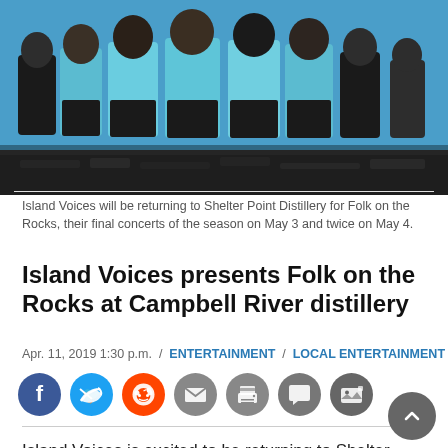[Figure (photo): Group photo of Island Voices choir members wearing teal/turquoise tops and black bottoms, standing outdoors on rocky ground.]
Island Voices will be returning to Shelter Point Distillery for Folk on the Rocks, their final concerts of the season on May 3 and twice on May 4.
Island Voices presents Folk on the Rocks at Campbell River distillery
Apr. 11, 2019 1:30 p.m.  /  ENTERTAINMENT  /  LOCAL ENTERTAINMENT
[Figure (infographic): Social media share buttons: Facebook, Twitter, Reddit, Email, Print, Comment, Photo gallery]
Island Voices is excited to be returning to Shelter Point Distillery for Folk on the Rocks, their final concert of the season. “After singing at Shelter Point last spring, we had to